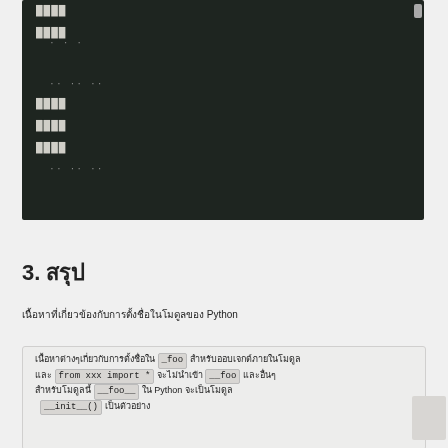[Figure (screenshot): Dark-themed code editor screenshot showing Thai-language Python documentation with code lines in monospace font on dark background]
3. สรุป
เนื้อหาที่เกี่ยวข้องกับการตั้งชื่อ
ตัวอย่างการใช้ _foo, from xxx import *, __foo, __foo__ ใน Python